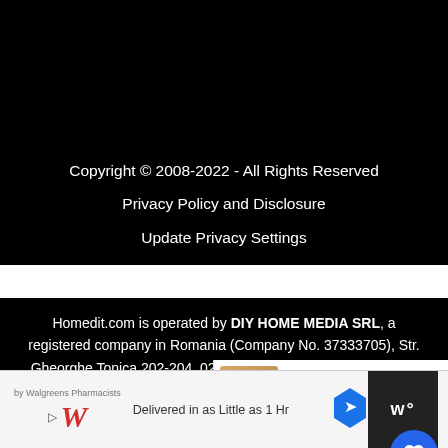Copyright © 2008-2022 - All Rights Reserved
Privacy Policy and Disclosure
Update Privacy Settings
Homedit.com is operated by DIY HOME MEDIA SRL, a registered company in Romania (Company No. 37333705), Str. Gheorghe Tonica 202-204, 020305, Bucharest. Telephone +40 751 842 790, contact@homedit.com.
Exclusive Member of Mediavine Home
[Figure (screenshot): What's Next panel showing 'Top 7 beautiful playroom...' with thumbnail]
[Figure (screenshot): Advertisement bar: Walgreens Pharmacists - Delivered in as Little as 1 Hr]